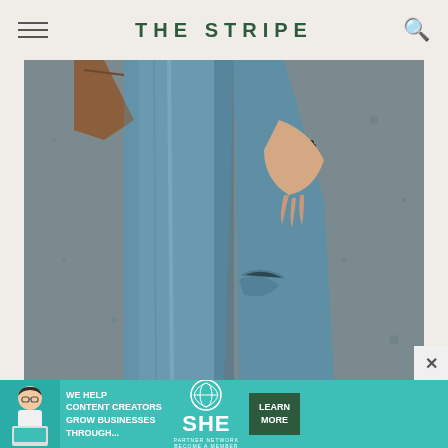THE STRIPE
[Figure (photo): Close-up photo of a person in blue jeans walking, holding a brown leather bag, with a concrete wall in the background.]
[Figure (infographic): Advertisement banner: WE HELP CONTENT CREATORS GROW BUSINESSES THROUGH... SHE Partner Network – BECOME A MEMBER. LEARN MORE button.]